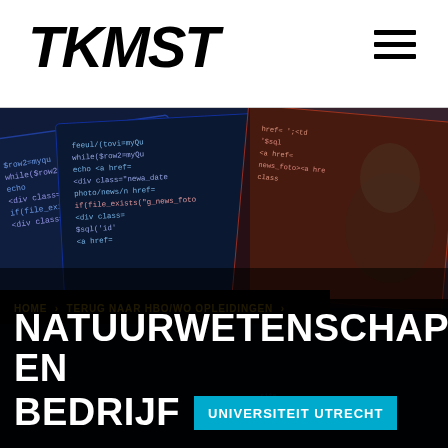TKMST
[Figure (screenshot): Hero image of laptop screens showing code/programming content with dark blue and red tones, featuring a person in the background]
HOME > TERUG NAAR HBO/WO OPLEIDINGEN >
NATUURWETENSCHAPPEN EN BEDRIJF   UNIVERSITEIT UTRECHT